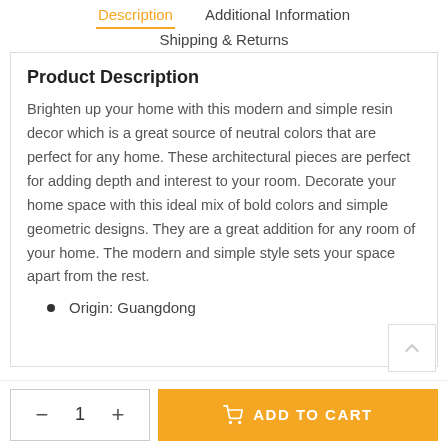Description | Additional Information | Shipping & Returns
Product Description
Brighten up your home with this modern and simple resin decor which is a great source of neutral colors that are perfect for any home. These architectural pieces are perfect for adding depth and interest to your room. Decorate your home space with this ideal mix of bold colors and simple geometric designs. They are a great addition for any room of your home. The modern and simple style sets your space apart from the rest.
Origin: Guangdong